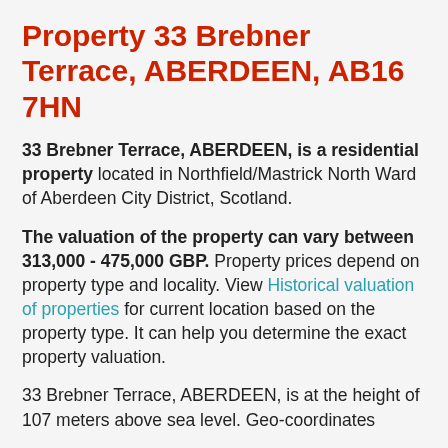Property 33 Brebner Terrace, ABERDEEN, AB16 7HN
33 Brebner Terrace, ABERDEEN, is a residential property located in Northfield/Mastrick North Ward of Aberdeen City District, Scotland.
The valuation of the property can vary between 313,000 - 475,000 GBP. Property prices depend on property type and locality. View Historical valuation of properties for current location based on the property type. It can help you determine the exact property valuation.
33 Brebner Terrace, ABERDEEN, is at the height of 107 meters above sea level. Geo-coordinates